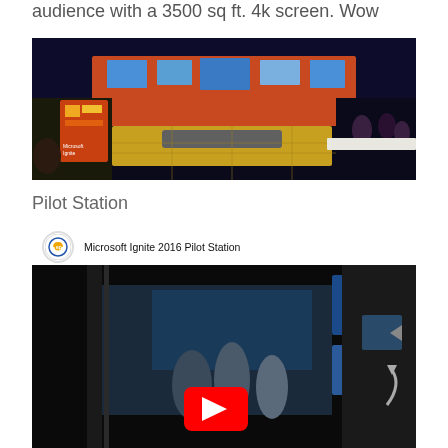audience with a 3500 sq ft. 4k screen. Wow
[Figure (photo): Panoramic photo of Microsoft Ignite conference venue showing large orange stage with screens, attendees seated, Microsoft Ignite branded signage in foreground left]
Pilot Station
[Figure (screenshot): YouTube video thumbnail for 'Microsoft Ignite 2016 Pilot Station' showing ep logo, video title bar, conference scene with people, and red YouTube play button]